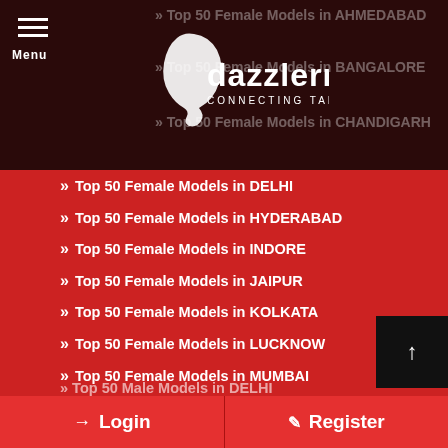Dazzlerr – Connecting Talent
» Top 50 Female Models in AHMEDABAD
» Top 50 Female Models in BANGALORE
» Top 50 Female Models in CHANDIGARH
» Top 50 Female Models in DELHI
» Top 50 Female Models in HYDERABAD
» Top 50 Female Models in INDORE
» Top 50 Female Models in JAIPUR
» Top 50 Female Models in KOLKATA
» Top 50 Female Models in LUCKNOW
» Top 50 Female Models in MUMBAI
» Top 50 Female Models in PUNE
» Top 50 Male Models in AHMEDABAD
» Top 50 Male Models in BANGALORE
» Top 50 Male Models in CHANDIGARH
» Top 50 Male Models in DELHI
Login | Register